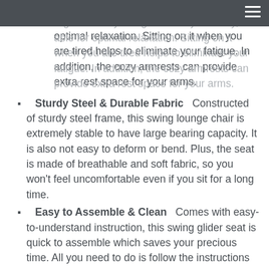(navigation bar with hamburger menu)
backreast of two 2 people rocking chair is ergonomically designed to fit your body, able for optimal relaxation. Sitting on it when you are tired helps to eliminate your fatigue. In addition, the cozy armrests can provide extra rest space for your arms.
Sturdy Steel & Durable Fabric    Constructed of sturdy steel frame, this swing lounge chair is extremely stable to have large bearing capacity. It is also not easy to deform or bend. Plus, the seat is made of breathable and soft fabric, so you won't feel uncomfortable even if you sit for a long time.
Easy to Assemble & Clean    Comes with easy-to-understand instruction, this swing glider seat is quick to assemble which saves your precious time. All you need to do is follow the instructions step by step. Besides, its tempered glass tabletop is waterproof and easy to keep clean.